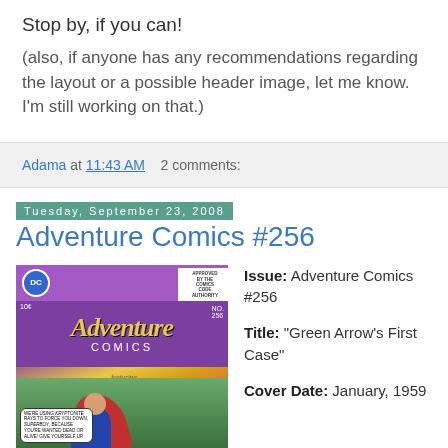Stop by, if you can!
(also, if anyone has any recommendations regarding the layout or a possible header image, let me know. I'm still working on that.)
Adama at 11:43 AM    2 comments:
Tuesday, September 23, 2008
Adventure Comics #256
[Figure (illustration): Cover of Adventure Comics #256 showing Superboy and a comic book cover with the text 'The Kryptonite Dragnet!']
Issue: Adventure Comics #256

Title: "Green Arrow's First Case"

Cover Date: January, 1959